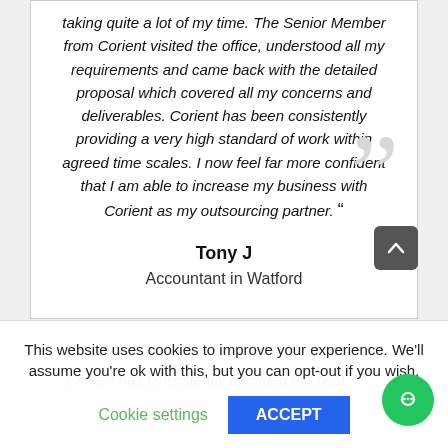taking quite a lot of my time. The Senior Member from Corient visited the office, understood all my requirements and came back with the detailed proposal which covered all my concerns and deliverables. Corient has been consistently providing a very high standard of work within agreed time scales. I now feel far more confident that I am able to increase my business with Corient as my outsourcing partner.
Tony J
Accountant in Watford
This website uses cookies to improve your experience. We'll assume you're ok with this, but you can opt-out if you wish.